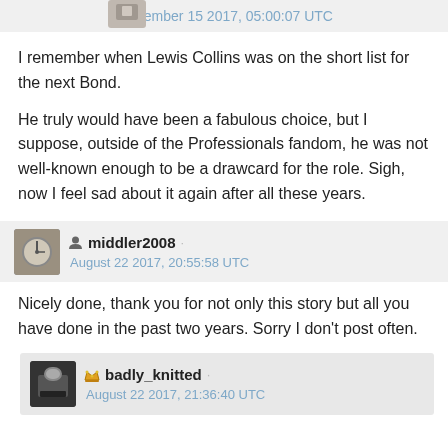September 15 2017, 05:00:07 UTC
I remember when Lewis Collins was on the short list for the next Bond.
He truly would have been a fabulous choice, but I suppose, outside of the Professionals fandom, he was not well-known enough to be a drawcard for the role. Sigh, now I feel sad about it again after all these years.
middler2008 · August 22 2017, 20:55:58 UTC
Nicely done, thank you for not only this story but all you have done in the past two years. Sorry I don't post often.
badly_knitted · August 22 2017, 21:36:40 UTC